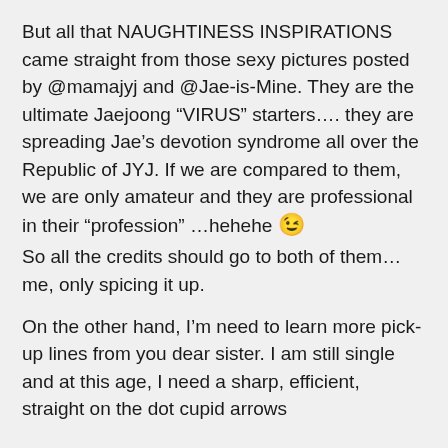But all that NAUGHTINESS INSPIRATIONS came straight from those sexy pictures posted by @mamajyj and @Jae-is-Mine. They are the ultimate Jaejoong “VIRUS” starters…. they are spreading Jae’s devotion syndrome all over the Republic of JYJ. If we are compared to them, we are only amateur and they are professional in their “profession” …hehehe 😉
So all the credits should go to both of them… me, only spicing it up.
On the other hand, I’m need to learn more pick-up lines from you dear sister. I am still single and at this age, I need a sharp, efficient, straight on the dot cupid arrows...